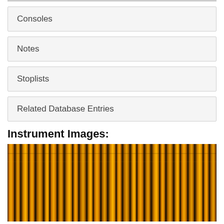Consoles
Notes
Stoplists
Related Database Entries
Instrument Images:
[Figure (photo): Close-up photograph of golden/brass organ pipes arranged vertically, showing warm golden tones with cylindrical metal pipes of varying sizes.]